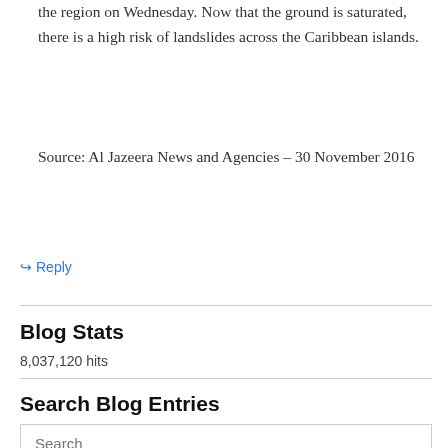the region on Wednesday. Now that the ground is saturated, there is a high risk of landslides across the Caribbean islands.
Source: Al Jazeera News and Agencies – 30 November 2016
↳ Reply
Blog Stats
8,037,120 hits
Search Blog Entries